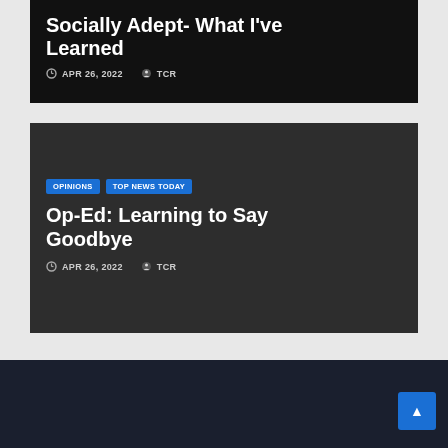Socially Adept- What I've Learned
APR 26, 2022   TCR
[Figure (screenshot): Dark card with article title and metadata]
Op-Ed: Learning to Say Goodbye
APR 26, 2022   TCR